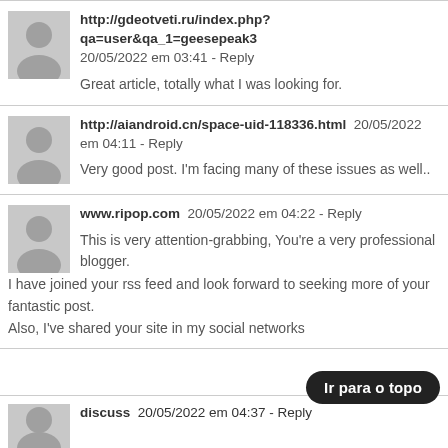http://gdeotveti.ru/index.php?qa=user&qa_1=geesepeak3  20/05/2022 em 03:41 - Reply
Great article, totally what I was looking for.
http://aiandroid.cn/space-uid-118336.html  20/05/2022 em 04:11 - Reply
Very good post. I'm facing many of these issues as well..
www.ripop.com  20/05/2022 em 04:22 - Reply
This is very attention-grabbing, You're a very professional blogger.
I have joined your rss feed and look forward to seeking more of your fantastic post.
Also, I've shared your site in my social networks
discuss  20/05/2022 em 04:37 - Reply